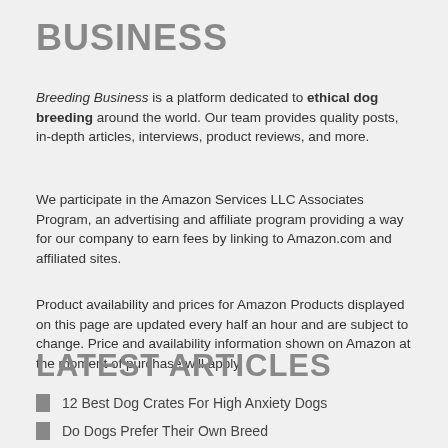BUSINESS
Breeding Business is a platform dedicated to ethical dog breeding around the world. Our team provides quality posts, in-depth articles, interviews, product reviews, and more.
We participate in the Amazon Services LLC Associates Program, an advertising and affiliate program providing a way for our company to earn fees by linking to Amazon.com and affiliated sites.
Product availability and prices for Amazon Products displayed on this page are updated every half an hour and are subject to change. Price and availability information shown on Amazon at the moment of purchase will apply.
LATEST ARTICLES
12 Best Dog Crates For High Anxiety Dogs
Do Dogs Prefer Their Own Breed